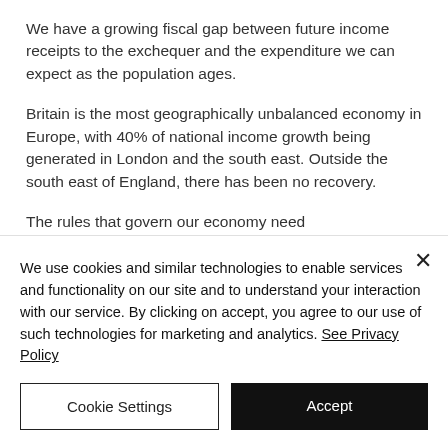We have a growing fiscal gap between future income receipts to the exchequer and the expenditure we can expect as the population ages.
Britain is the most geographically unbalanced economy in Europe, with 40% of national income growth being generated in London and the south east. Outside the south east of England, there has been no recovery.
The rules that govern our economy need
We use cookies and similar technologies to enable services and functionality on our site and to understand your interaction with our service. By clicking on accept, you agree to our use of such technologies for marketing and analytics. See Privacy Policy